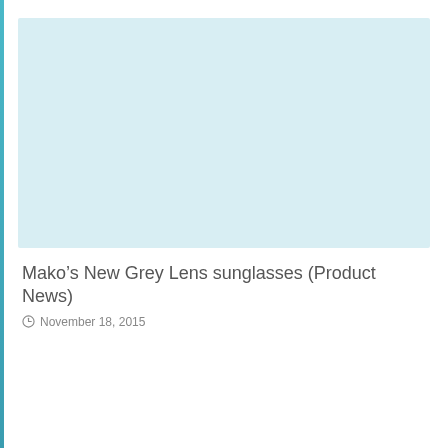[Figure (photo): Light blue-grey image placeholder area at the top of the page]
Mako’s New Grey Lens sunglasses (Product News)
⌚ November 18, 2015